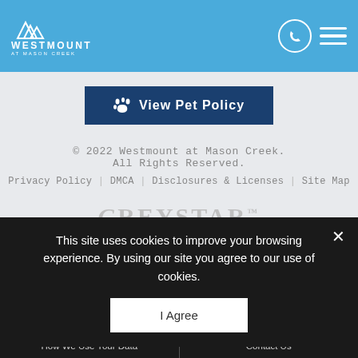[Figure (logo): Westmount at Mason Creek logo with mountain peaks icon and white text on blue header background, with phone icon and hamburger menu icon on the right]
[Figure (illustration): Dark blue button with paw print icon and text 'View Pet Policy']
© 2022 Westmount at Mason Creek. All Rights Reserved.
Privacy Policy | DMCA | Disclosures & Licenses | Site Map
[Figure (logo): Greystar logo in grey serif font with trademark symbol and underline]
[Figure (logo): POWERED BY JONAH text logo in grey]
This site uses cookies to improve your browsing experience. By using our site you agree to our use of cookies.
I Agree
How We Use Your Data | Contact Us